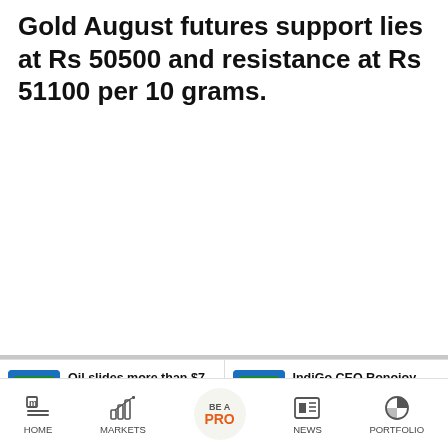Gold August futures support lies at Rs 50500 and resistance at Rs 51100 per 10 grams.
Oil slides more than $7 on inflation and Iraq
IndiGo CEO Ronojoy Dutta agrees to 2-year
HOME  MARKETS  BE A PRO  NEWS  PORTFOLIO